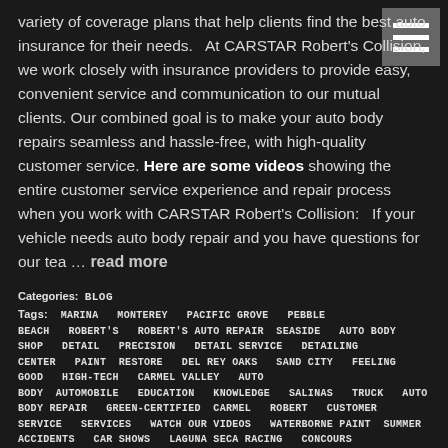variety of coverage plans that help clients find the best auto insurance for their needs.  At CARSTAR Robert's Collision, we work closely with insurance providers to provide easy, convenient service and communication to our mutual clients. Our combined goal is to make your auto body repairs seamless and hassle-free, with high-quality customer service. Here are some videos showing the entire customer service experience and repair process when you work with CARSTAR Robert's Collision:  If your vehicle needs auto body repair and you have questions for our tea … read more
Categories:  BLOG
Tags:  MARINA  MONTEREY  PACIFIC GROVE  PEBBLE BEACH  ROBERT'S  ROBERT'S AUTO REPAIR  SEASIDE  AUTO BODY SHOP  DETAIL  PRECISION  DETAIL SERVICE  DETAILING CENTER  PAINT  RESTORE  DEL REY OAKS  SAND CITY  FEELING GOOD  HIGH-TECH  CARMEL VALLEY  AUTO BODY  AUTOMOBILE  EDUCATION  KNOWLEDGE  SALINAS  TRUCK  AUTO BODY REPAIR  GREEN-CERTIFIED  CARMEL  ROBERT  CUSTOMER SERVICE  SERVICES  WATCH OUR VIDEOS  WATERBORNE PAINT  SUMMER ACCIDENTS  CAR SHOWS  LAGUNA SECA RACING  CONCOURS D'ELEGANCE  LAGUNA SECA RACEWAY  SUMMERTIME  PRECIOUS CARGO  SAFETY  BLOG  FARMER'S  GEICO  INSURANCE  TRIPLE A  BIG SUR  MONTEREY PENINSULA  SUV  VAN  CORRAL DE TIERRA  CASTROVILLE  PRUNEDALE  WATSONVILLE  NORTH MONTEREY COUNTY  MOSS LANDING  DEFENSE LANGUAGE INSTITUTE  DLI  NAVAL POSTGRADUATE SCHOOL  NPS